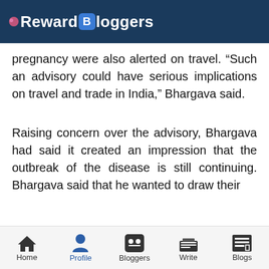Reward Bloggers
pregnancy were also alerted on travel. “Such an advisory could have serious implications on travel and trade in India,” Bhargava said.
Raising concern over the advisory, Bhargava had said it created an impression that the outbreak of the disease is still continuing. Bhargava said that he wanted to draw their
Home | Profile | Bloggers | Write | Blogs